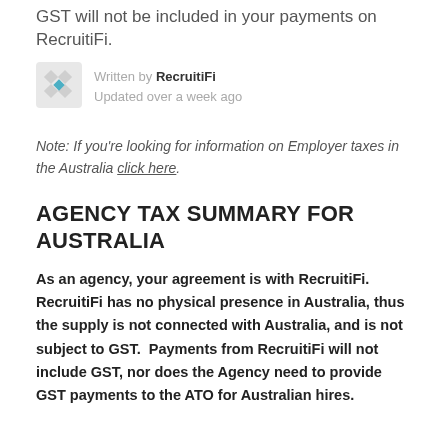GST will not be included in your payments on RecruitiFi.
Written by RecruitiFi
Updated over a week ago
Note: If you're looking for information on Employer taxes in the Australia click here.
AGENCY TAX SUMMARY FOR AUSTRALIA
As an agency, your agreement is with RecruitiFi. RecruitiFi has no physical presence in Australia, thus the supply is not connected with Australia, and is not subject to GST. Payments from RecruitiFi will not include GST, nor does the Agency need to provide GST payments to the ATO for Australian hires.